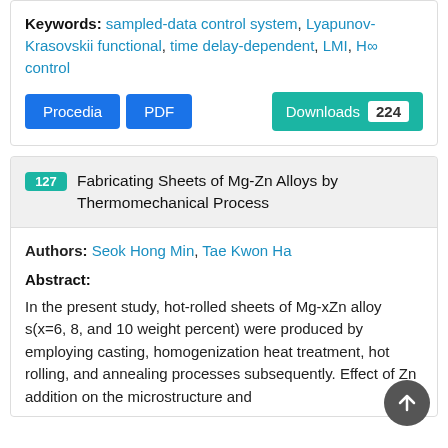Keywords: sampled-data control system, Lyapunov-Krasovskii functional, time delay-dependent, LMI, H∞ control
Procedia | PDF | Downloads 224
127 Fabricating Sheets of Mg-Zn Alloys by Thermomechanical Process
Authors: Seok Hong Min, Tae Kwon Ha
Abstract:
In the present study, hot-rolled sheets of Mg-xZn alloys(x=6, 8, and 10 weight percent) were produced by employing casting, homogenization heat treatment, hot rolling, and annealing processes subsequently. Effect of Zn addition on the microstructure and